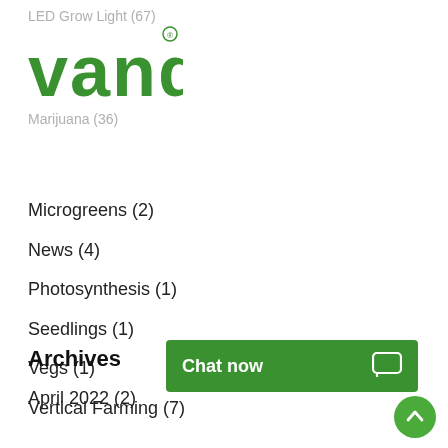[Figure (logo): VanQ logo — green stylized text 'vanq' with registered trademark symbol, with faded gray text 'LED Grow Light (87)' above and faded gray text below the logo]
Microgreens (2)
News (4)
Photosynthesis (1)
Seedlings (1)
Vegs (1)
Vertical Farming (7)
Archives
[Figure (other): Green 'Chat now' button overlay with chat bubble icon on the right]
April 2022 (2)